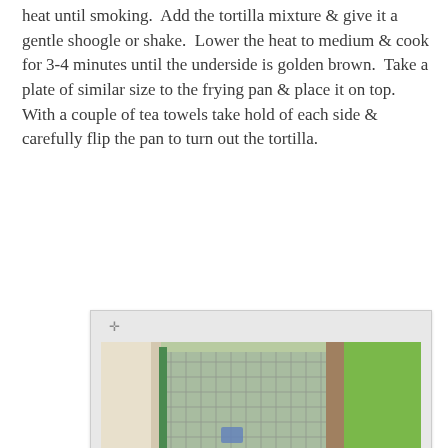heat until smoking.  Add the tortilla mixture & give it a gentle shoogle or shake.  Lower the heat to medium & cook for 3-4 minutes until the underside is golden brown.  Take a plate of similar size to the frying pan & place it on top.  With a couple of tea towels take hold of each side & carefully flip the pan to turn out the tortilla.
[Figure (photo): A photograph of a tortilla (Spanish omelette) on a white plate, placed on a table near a window with a mesh/lattice screen visible in the background and greenery outside.]